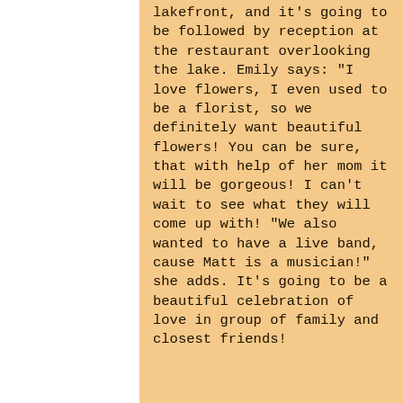lakefront, and it's going to be followed by reception at the restaurant overlooking the lake. Emily says: "I love flowers, I even used to be a florist, so we definitely want beautiful flowers! You can be sure, that with help of her mom it will be gorgeous! I can't wait to see what they will come up with! "We also wanted to have a live band, cause Matt is a musician!" she adds. It's going to be a beautiful celebration of love in group of family and closest friends!